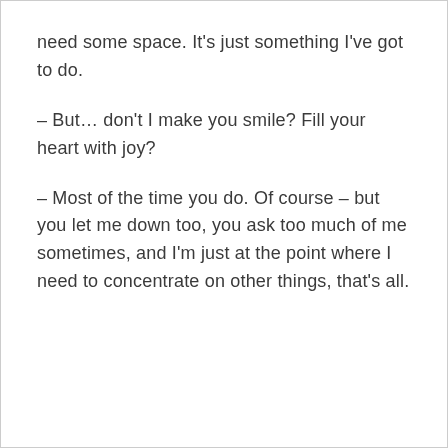need some space. It's just something I've got to do.
– But… don't I make you smile? Fill your heart with joy?
– Most of the time you do. Of course – but you let me down too, you ask too much of me sometimes, and I'm just at the point where I need to concentrate on other things, that's all.